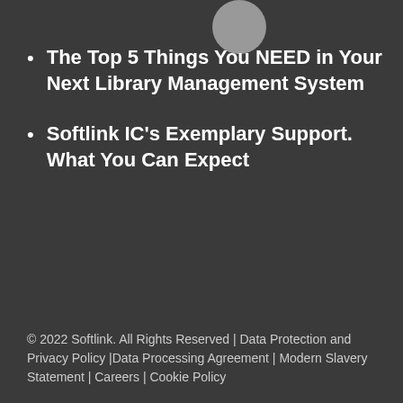The Top 5 Things You NEED in Your Next Library Management System
Softlink IC's Exemplary Support. What You Can Expect
© 2022 Softlink. All Rights Reserved | Data Protection and Privacy Policy |Data Processing Agreement | Modern Slavery Statement | Careers | Cookie Policy